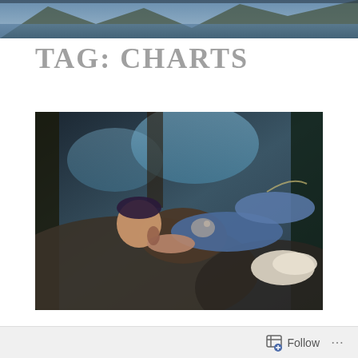[Figure (photo): Scenic mountain landscape with water — partial banner image at top of page]
TAG: CHARTS
[Figure (photo): Young man with neck tattoos and a purple undercut hairstyle, wearing jeans, reclining against rocks outdoors surrounded by trees]
‘Nobody is Listening’ reintroduces ZAYN
Follow ...